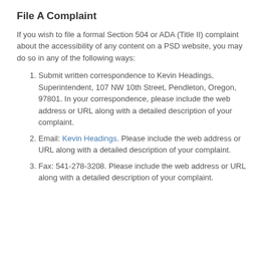File A Complaint
If you wish to file a formal Section 504 or ADA (Title II) complaint about the accessibility of any content on a PSD website, you may do so in any of the following ways:
Submit written correspondence to Kevin Headings, Superintendent, 107 NW 10th Street, Pendleton, Oregon, 97801. In your correspondence, please include the web address or URL along with a detailed description of your complaint.
Email: Kevin Headings. Please include the web address or URL along with a detailed description of your complaint.
Fax: 541-278-3208. Please include the web address or URL along with a detailed description of your complaint.